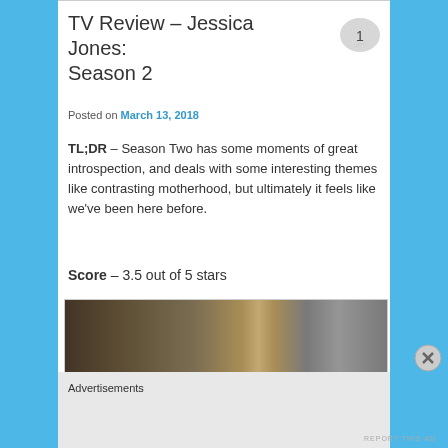TV Review – Jessica Jones: Season 2
Posted on March 13, 2018
TL;DR – Season Two has some moments of great introspection, and deals with some interesting themes like contrasting motherhood, but ultimately it feels like we've been here before.
Score – 3.5 out of 5 stars
[Figure (photo): Dark scene from Jessica Jones Season 2 showing a figure in a dimly lit room with shelves in the background]
Advertisements